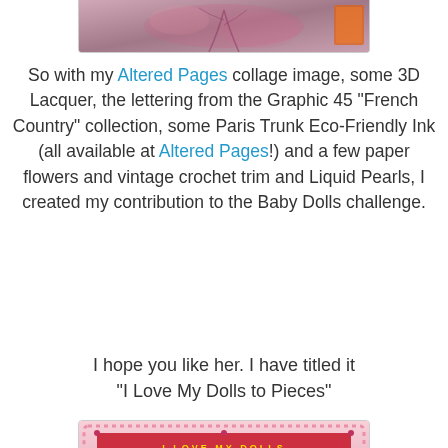[Figure (photo): Top portion of a photo, partially cropped, showing a pink/purple decorative background scene]
So with my Altered Pages collage image, some 3D Lacquer, the lettering from the Graphic 45 "French Country" collection, some Paris Trunk Eco-Friendly Ink (all available at Altered Pages!) and a few paper flowers and vintage crochet trim and Liquid Pearls, I created my contribution to the Baby Dolls challenge.
I hope you like her. I have titled it "I Love My Dolls to Pieces"
[Figure (photo): A crafted shadow box or altered art piece featuring a vintage baby doll head, an old photograph of a child with dolls, a pink decorative frame with 'I Love My Dolls' text, paper roses, crochet doily, and other embellishments]